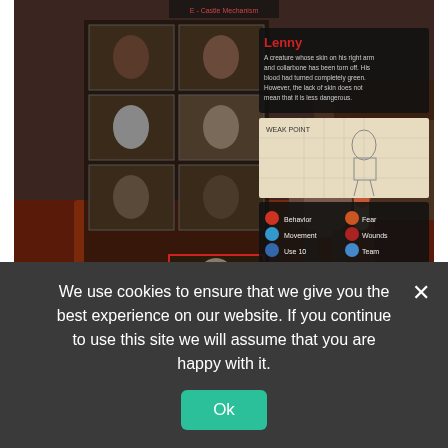[Figure (screenshot): Video game screenshot showing a creature character selection/library screen. Left side shows a grid of creature thumbnails. Center shows a large 3D model of a humanoid creature with exposed muscles/bones. Upper right shows a character info panel with name 'Lenny' and description text and a concept art sketch. Lower right shows game stats/abilities panel. Bottom bar shows menu options including 'DISPLAY TUTORIAL'.]
| Creature Library Entry | Description |
| --- | --- |
| Creature Library Entry | "A creature whose skin on his right arm and collarbone has been torn off. His blood had turned completely green. However, the lack of skin does not mean that it is less dangerous." |
We use cookies to ensure that we give you the best experience on our website. If you continue to use this site we will assume that you are happy with it.